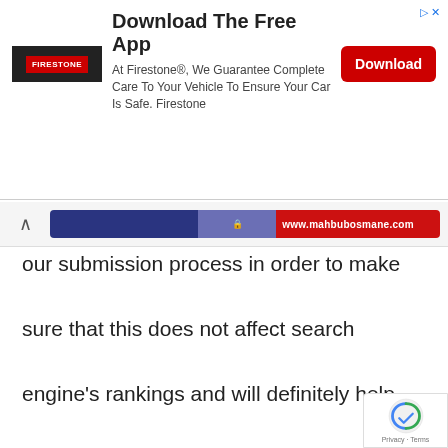[Figure (screenshot): Ad banner for Firestone app download with logo, text, and red Download button]
[Figure (screenshot): Browser navigation bar with back arrow and URL bar showing www.mahbubosmane.com]
our submission process in order to make sure that this does not affect search engine's rankings and will definitely help increase the visibility of your business.
Important Features: What are our priorities on the Article Submission?
Submission Time – We schedule the time of submission for each article and submit them at intervals